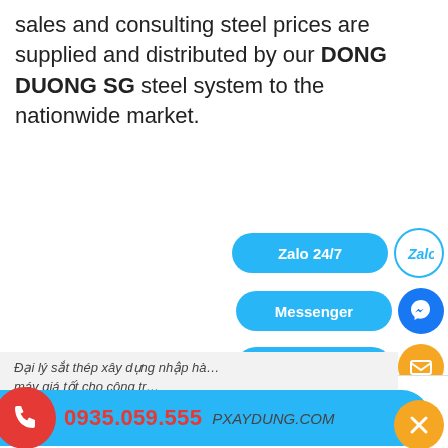sales and consulting steel prices are supplied and distributed by our DONG DUONG SG steel system to the nationwide market.
[Figure (screenshot): Chat widget with Zalo 24/7, Messenger, Email-Gmail, and Dia Chi VPGD buttons on the right side of the page]
Đại lý sắt thép xây dựng nhập hàng máy giá tốt cho công trình
0935.059.555  PXAYDUNG.COM
Gọi điện  Nhắn tin  Chat zalo  Facebook